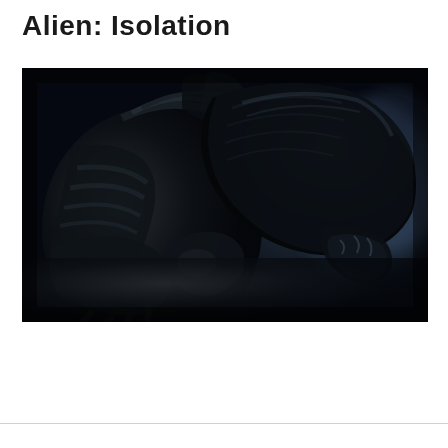Alien: Isolation
[Figure (photo): Close-up promotional image of the Xenomorph creature from the video game Alien: Isolation. The alien's elongated dark biomechanical head is shown in profile, leaning forward with its inner jaw slightly extended. The background is dark with a faint bluish-purple atmospheric haze. The creature's exoskeleton has a dark, wet, reflective sheen.]